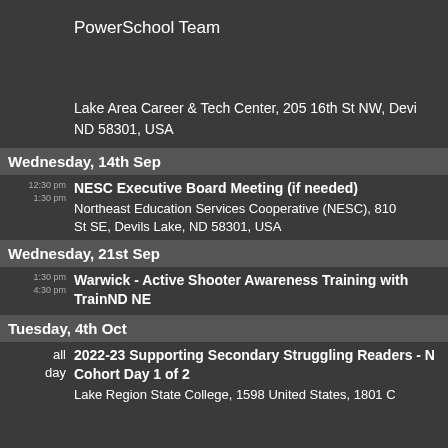PowerSchool Team
Lake Area Career & Tech Center, 205 16th St NW, Devils Lake, ND 58301, USA
Wednesday, 14th Sep
12:30 pm - 1:30 pm: NESC Executive Board Meeting (if needed)
Northeast Education Services Cooperative (NESC), 810 St SE, Devils Lake, ND 58301, USA
Wednesday, 21st Sep
1:30 pm - 4:30 pm: Warwick - Active Shooter Awareness Training with TrainND NE
Tuesday, 4th Oct
all day: 2022-23 Supporting Secondary Struggling Readers - Cohort Day 1 of 2
Lake Region State College, 1598 United States, 1801 College Dr N...